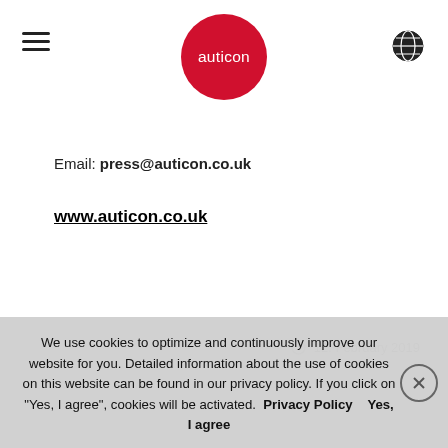[Figure (logo): auticon logo — white text 'auticon' on a red circle, centered in the page header]
Email: press@auticon.co.uk
www.auticon.co.uk
12. February 2019
We use cookies to optimize and continuously improve our website for you. Detailed information about the use of cookies on this website can be found in our privacy policy. If you click on "Yes, I agree", cookies will be activated.  Privacy Policy    Yes, I agree